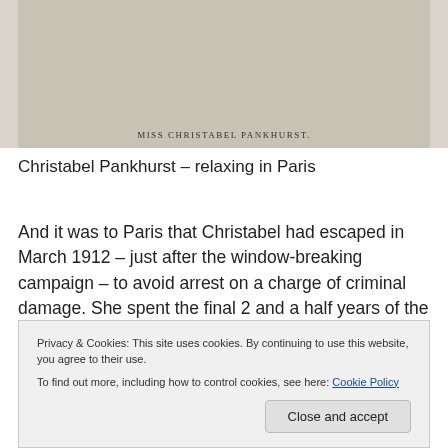[Figure (photo): Photograph of Miss Christabel Pankhurst with caption text 'MISS CHRISTABEL PANKHURST.']
Christabel Pankhurst – relaxing in Paris
And it was to Paris that Christabel had escaped in March 1912 – just after the window-breaking campaign – to avoid arrest on a charge of criminal damage. She spent the final 2 and a half years of the campaign there – clearly very relaxed – while those who followed her militant policy were imprisoned and on hunger strike.
Privacy & Cookies: This site uses cookies. By continuing to use this website, you agree to their use.
To find out more, including how to control cookies, see here: Cookie Policy